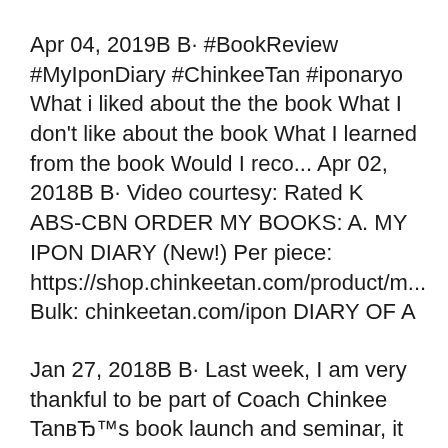Apr 04, 2019В В· #BookReview #MyIponDiary #ChinkeeTan #iponaryo What i liked about the the book What I don't like about the book What I learned from the book Would I reco... Apr 02, 2018В В· Video courtesy: Rated K ABS-CBN ORDER MY BOOKS: A. MY IPON DIARY (New!) Per piece: https://shop.chinkeetan.com/product/m... Bulk: chinkeetan.com/ipon DIARY OF A
Jan 27, 2018В В· Last week, I am very thankful to be part of Coach Chinkee TanвЂ™s book launch and seminar, it was a jam-packed, learning-filled seminar and book launch. Coach ChinkeeвЂ™s newest book is entitled